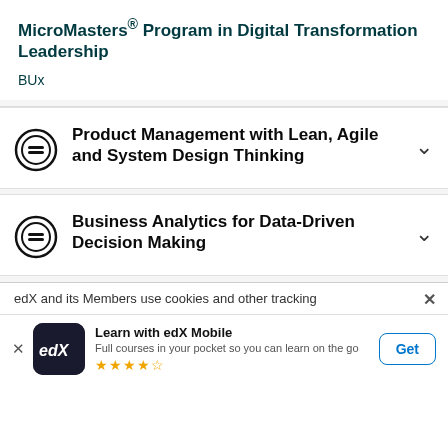MicroMasters® Program in Digital Transformation Leadership
BUx
Product Management with Lean, Agile and System Design Thinking
Business Analytics for Data-Driven Decision Making
edX and its Members use cookies and other tracking
Learn with edX Mobile
Full courses in your pocket so you can learn on the go